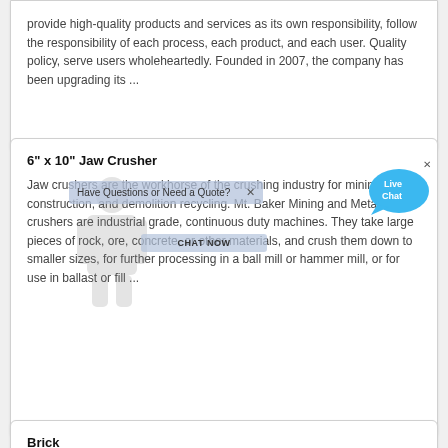provide high-quality products and services as its own responsibility, follow the responsibility of each process, each product, and each user. Quality policy, serve users wholeheartedly. Founded in 2007, the company has been upgrading its ...
6" x 10" Jaw Crusher
Jaw crushers are the workhorse of the crushing industry for mining, construction, and demolition recycling. Mt. Baker Mining and Metals" jaw crushers are industrial grade, continuous duty machines. They take large pieces of rock, ore, concrete, or other materials, and crush them down to smaller sizes, for further processing in a ball mill or hammer mill, or for use in ballast or fill ...
Brick